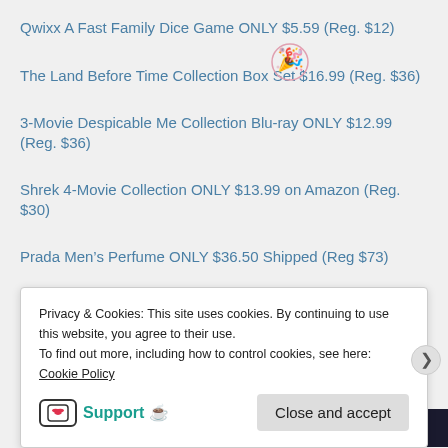Qwixx A Fast Family Dice Game ONLY $5.59 (Reg. $12)
The Land Before Time Collection Box Set $16.99 (Reg. $36)
3-Movie Despicable Me Collection Blu-ray ONLY $12.99 (Reg. $36)
Shrek 4-Movie Collection ONLY $13.99 on Amazon (Reg. $30)
Prada Men's Perfume ONLY $36.50 Shipped (Reg $73)
Fossil Men's Leather Strap Watch ONLY $59.50 (Reg $119)
Kate Spade Harlow Crossbody ONLY $59 (Reg $279)
Advertisements
Privacy & Cookies: This site uses cookies. By continuing to use this website, you agree to their use.
To find out more, including how to control cookies, see here: Cookie Policy
Support 🍵
Close and accept